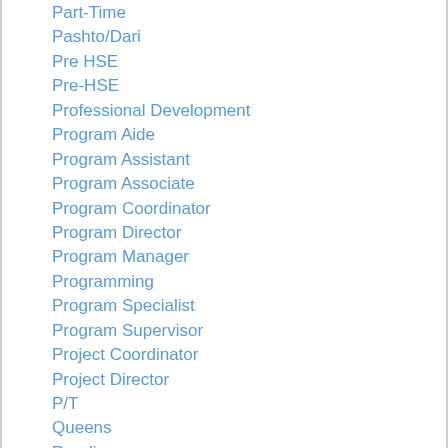Part-Time
Pashto/Dari
Pre HSE
Pre-HSE
Professional Development
Program Aide
Program Assistant
Program Associate
Program Coordinator
Program Director
Program Manager
Programming
Program Specialist
Program Supervisor
Project Coordinator
Project Director
P/T
Queens
Reading
Reading Room Manager
Receptionist
Recruitment